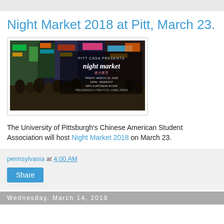Night Market 2018 at Pitt, March 23.
[Figure (photo): Promotional flyer for Pitt CASA Night Market 2018 event, showing a crowded Asian night market street scene with neon signs. Text overlay reads: PITT CASA PRESENTS night market, Friday, March 23, 2018, 10PM - Midnight, WPU Kurtzman Room, Free Admission, Free Food, Games, Prizes.]
The University of Pittsburgh's Chinese American Student Association will host Night Market 2018 on March 23.
pennsylvasia at 4:00 AM
Share
Wednesday, March 14, 2018